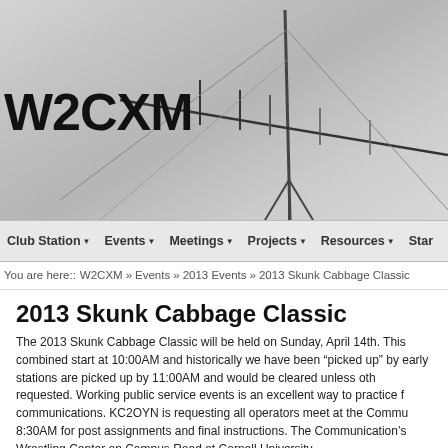[Figure (photo): Header photo of antenna/yagi against a grey sky background]
W2CXM
Club Station | Events | Meetings | Projects | Resources | Star...
You are here:: W2CXM » Events » 2013 Events » 2013 Skunk Cabbage Classic
2013 Skunk Cabbage Classic
The 2013 Skunk Cabbage Classic will be held on Sunday, April 14th. This combined start at 10:00AM and historically we have been "picked up" by early stations are picked up by 11:00AM and would be cleared unless oth requested. Working public service events is an excellent way to practice f communications. KC2OYN is requesting all operators meet at the Commu 8:30AM for post assignments and final instructions. The Communication's Wrestling Center on Campus Road at Cornell University.
When you sign up for this event, please let KC2OYN know your preferenc Would you also let KC2OYN know if you will be using an HT or a Mobile R
What to Expect
What we do at these events is provide health and safety communicatio